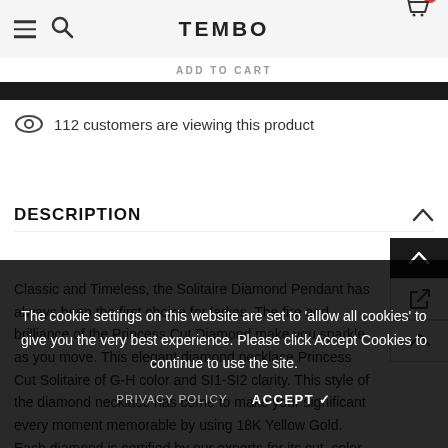TEMBO
ADD TO CART
112 customers are viewing this product
DESCRIPTION
Classic and Timeless, the Solitaire Diamond Pendant has always been the first choice for ladies. The fire and brilliance of the Princess Cut Diamond make you sparkle as you move. This elegant diamond necklace Princess Cut Solitaire of G-H color and SI1-SI2 clarity. This style of the diamond necklace has come to make your significant every moment memorable by using 18K Yellow Gold. Each diamond is certified by our experts for its cut, color, and clarity and then set by our master jewelers. At every step, we make sure we provide the best genuine diamond and design to our
The cookie settings on this website are set to 'allow all cookies' to give you the very best experience. Please click Accept Cookies to continue to use the site.